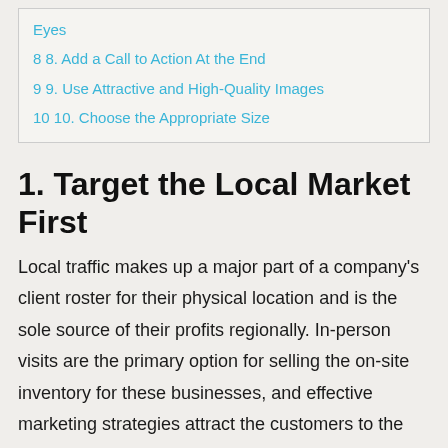Eyes
8 8. Add a Call to Action At the End
9 9. Use Attractive and High-Quality Images
10 10. Choose the Appropriate Size
1. Target the Local Market First
Local traffic makes up a major part of a company's client roster for their physical location and is the sole source of their profits regionally. In-person visits are the primary option for selling the on-site inventory for these businesses, and effective marketing strategies attract the customers to the business. Want to use a Banner Chicago for your next campaign? Contact a